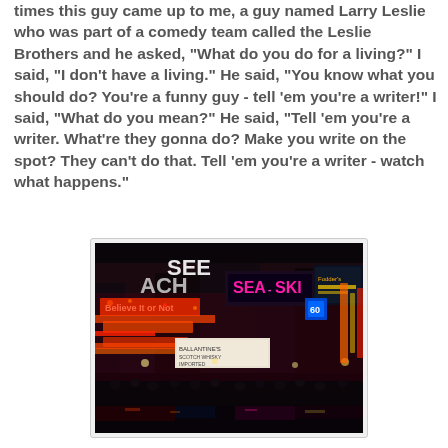times this guy came up to me, a guy named Larry Leslie who was part of a comedy team called the Leslie Brothers and he asked, "What do you do for a living?" I said, "I don't have a living." He said, "You know what you should do? You're a funny guy - tell 'em you're a writer!" I said, "What do you mean?" He said, "Tell 'em you're a writer. What're they gonna do? Make you write on the spot? They can't do that. Tell 'em you're a writer - watch what happens."
[Figure (photo): Night photograph of a busy city street (Times Square) with neon signs including SEA-SKI and Believe It or Not, crowds of people on the sidewalk, reflections on wet pavement.]